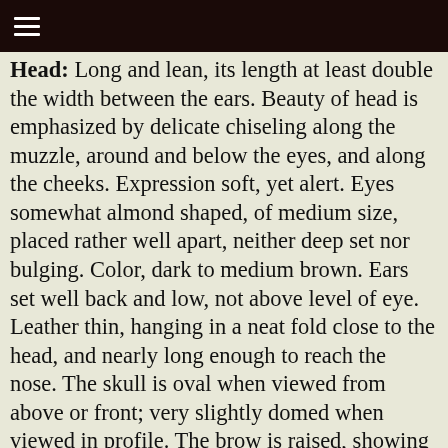≡
Head: Long and lean, its length at least double the width between the ears. Beauty of head is emphasized by delicate chiseling along the muzzle, around and below the eyes, and along the cheeks. Expression soft, yet alert. Eyes somewhat almond shaped, of medium size, placed rather well apart, neither deep set nor bulging. Color, dark to medium brown. Ears set well back and low, not above level of eye. Leather thin, hanging in a neat fold close to the head, and nearly long enough to reach the nose. The skull is oval when viewed from above or front; very slightly domed when viewed in profile. The brow is raised, showing a distinct stop midway between the tip of the nose and the well-defined occiput (rear point of skull). Thus the nearly level line from occiput to brow is set a little above, and parallel to, the straight and equal line from eye to nose